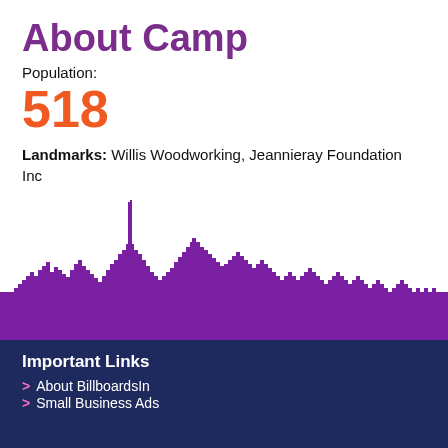About Camp
Population:
518
Landmarks: Willis Woodworking, Jeannieray Foundation Inc
Major Roads:
[Figure (illustration): Purple city skyline silhouette on white background]
Important Links
About BillboardsIn
Small Business Ads